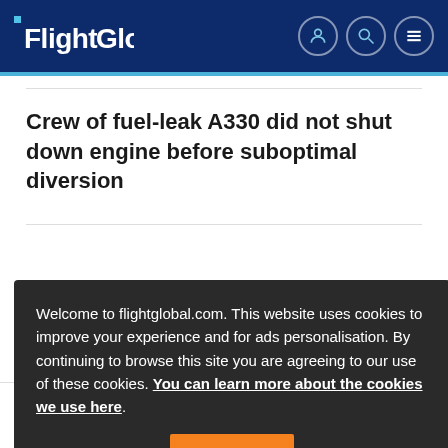FlightGlobal
Crew of fuel-leak A330 did not shut down engine before suboptimal diversion
Welcome to flightglobal.com. This website uses cookies to improve your experience and for ads personalisation. By continuing to browse this site you are agreeing to our use of these cookies. You can learn more about the cookies we use here.
AW249 attack helicopter accelerates into flight-test campaign